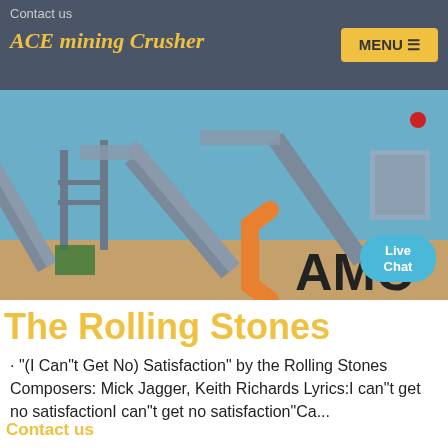Contact us | ACE mining Crusher | MENU
[Figure (photo): Industrial mining crusher facility with conveyor belts and steel structures against a blue sky. AMC logo overlay visible in lower right with Live Chat bubble.]
The Rolling Stones
· "(I Can"t Get No) Satisfaction" by the Rolling Stones Composers: Mick Jagger, Keith Richards Lyrics:I can"t get no satisfactionI can"t get no satisfaction"Ca...
Contact us